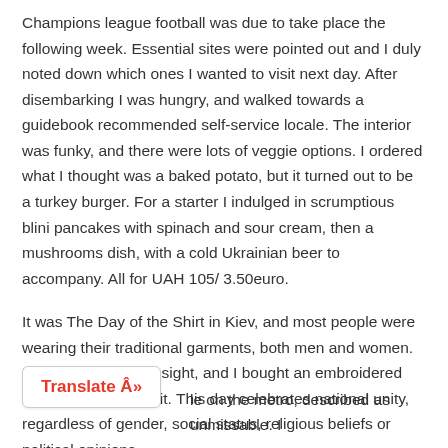Champions league football was due to take place the following week. Essential sites were pointed out and I duly noted down which ones I wanted to visit next day. After disembarking I was hungry, and walked towards a guidebook recommended self-service locale. The interior was funky, and there were lots of veggie options. I ordered what I thought was a baked potato, but it turned out to be a turkey burger. For a starter I indulged in scrumptious blini pancakes with spinach and sour cream, then a mushrooms dish, with a cold Ukrainian beer to accompany. All for UAH 105/ 3.50euro.
It was The Day of the Shirt in Kiev, and most people were wearing their traditional garments, both men and women. It was an endearing sight, and I bought an embroidered top to remind me of it. This day celebrates national unity, regardless of gender, social status, religious beliefs or political opinions.
[Figure (other): Translate button UI element with red bold text 'Translate Â»']
le on the metro, described as unmissable. I